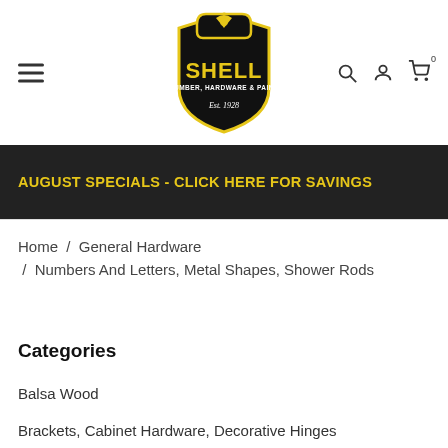[Figure (logo): Shell Lumber Hardware & Paint logo — black shield shape with yellow text 'SHELL', 'LUMBER, HARDWARE & PAINT', decorative emblem at top, and 'Est. 1928' below in script]
AUGUST SPECIALS - CLICK HERE FOR SAVINGS
Home / General Hardware / Numbers And Letters, Metal Shapes, Shower Rods
Categories
Balsa Wood
Brackets, Cabinet Hardware, Decorative Hinges